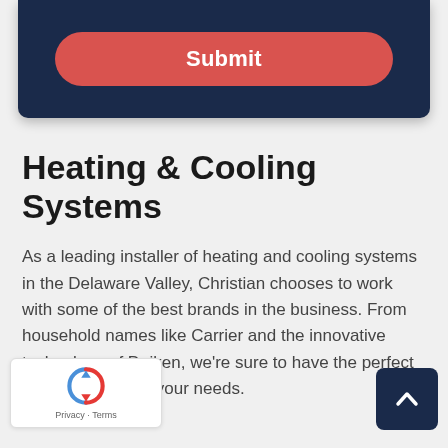[Figure (screenshot): Dark navy form card with a red rounded Submit button]
Heating & Cooling Systems
As a leading installer of heating and cooling systems in the Delaware Valley, Christian chooses to work with some of the best brands in the business. From household names like Carrier and the innovative technology of Daiken, we're sure to have the perfect HVAC system for your needs.
[Figure (logo): reCAPTCHA widget with Privacy and Terms links]
[Figure (other): Scroll to top button with chevron up arrow]